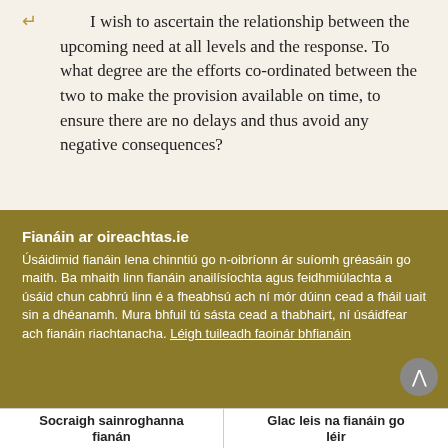I wish to ascertain the relationship between the upcoming need at all levels and the response. To what degree are the efforts co-ordinated between the two to make the provision available on time, to ensure there are no delays and thus avoid any negative consequences?
Fianáin ar oireachtas.ie
Úsáidimid fianáin lena chinntiú go n-oibríonn ár suíomh gréasáin go maith. Ba mhaith linn fianáin anailísíochta agus feidhmiúlachta a úsáid chun cabhrú linn é a fheabhsú ach ní mór dúinn cead a fháil uait sin a dhéanamh. Mura bhfuil tú sásta cead a thabhairt, ní úsáidfear ach fianáin riachtanacha. Léigh tuileadh faoinár bhfianáin
Socraigh sainroghanna fianán
Glac leis na fianáin go léir